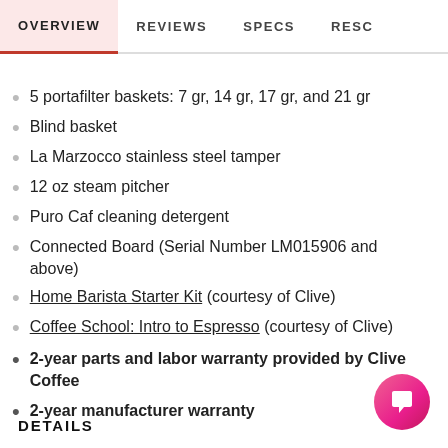OVERVIEW  REVIEWS  SPECS  RESC
5 portafilter baskets: 7 gr, 14 gr, 17 gr, and 21 gr
Blind basket
La Marzocco stainless steel tamper
12 oz steam pitcher
Puro Caf cleaning detergent
Connected Board (Serial Number LM015906 and above)
Home Barista Starter Kit (courtesy of Clive)
Coffee School: Intro to Espresso (courtesy of Clive)
2-year parts and labor warranty provided by Clive Coffee
2-year manufacturer warranty
DETAILS